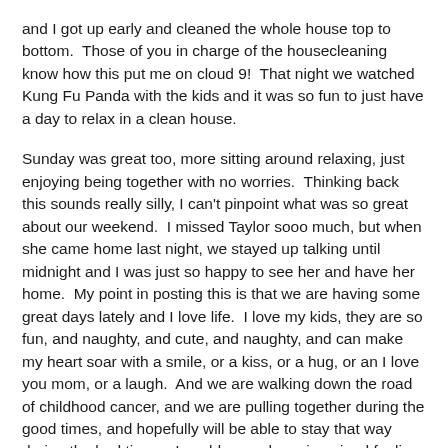and I got up early and cleaned the whole house top to bottom.  Those of you in charge of the housecleaning know how this put me on cloud 9!  That night we watched Kung Fu Panda with the kids and it was so fun to just have a day to relax in a clean house.
Sunday was great too, more sitting around relaxing, just enjoying being together with no worries.  Thinking back this sounds really silly, I can't pinpoint what was so great about our weekend.  I missed Taylor sooo much, but when she came home last night, we stayed up talking until midnight and I was just so happy to see her and have her home.  My point in posting this is that we are having some great days lately and I love life.  I love my kids, they are so fun, and naughty, and cute, and naughty, and can make my heart soar with a smile, or a kiss, or a hug, or an I love you mom, or a laugh.  And we are walking down the road of childhood cancer, and we are pulling together during the good times, and hopefully will be able to stay that way during the bad times.  I could never have imagined feeling this way a month ago, when everything was dark, and sad, and hard.  I have to write it down because, when a dark spell comes, I can